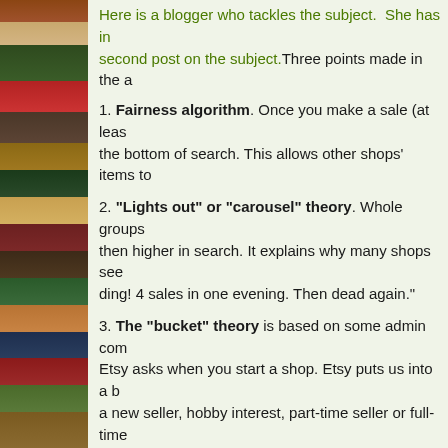[Figure (photo): Bookshelf with colorful books on the left side of the page]
Here is a blogger who tackles the subject. She has in... second post on the subject. Three points made in the a...
1. Fairness algorithm. Once you make a sale (at leas... the bottom of search. This allows other shops' items to...
2. "Lights out" or "carousel" theory. Whole groups... then higher in search. It explains why many shops see... ding! 4 sales in one evening. Then dead again."
3. The "bucket" theory is based on some admin com... Etsy asks when you start a shop. Etsy puts us into a b... a new seller, hobby interest, part-time seller or full-time... gets a bonus.
This is a new article on the cycles that our items' ranki... an interesting scenario.
Fairness Algorithm / Rotation